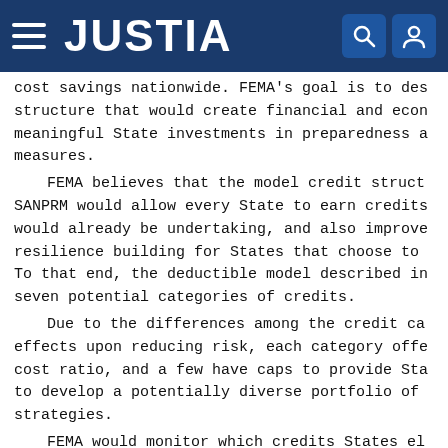JUSTIA
cost savings nationwide. FEMA's goal is to design a structure that would create financial and economic incentives for meaningful State investments in preparedness and mitigation measures.
FEMA believes that the model credit structure in SANPRM would allow every State to earn credits for activities it would already be undertaking, and also improve incentives for resilience building for States that choose to do more. To that end, the deductible model described in SANPRM includes seven potential categories of credits.
Due to the differences among the credit categories and their effects upon reducing risk, each category offers a different cost ratio, and a few have caps to provide States flexibility to develop a potentially diverse portfolio of risk reduction strategies.
FEMA would monitor which credits States elect and continue to refine its credit offerings each year.